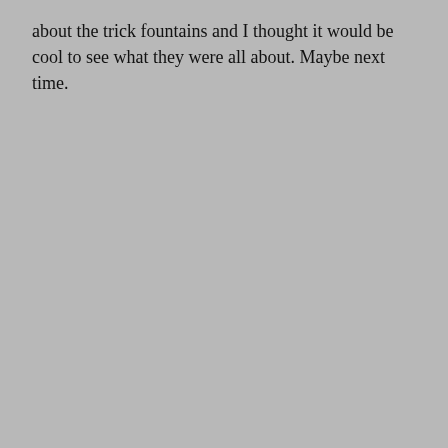about the trick fountains and I thought it would be cool to see what they were all about. Maybe next time.